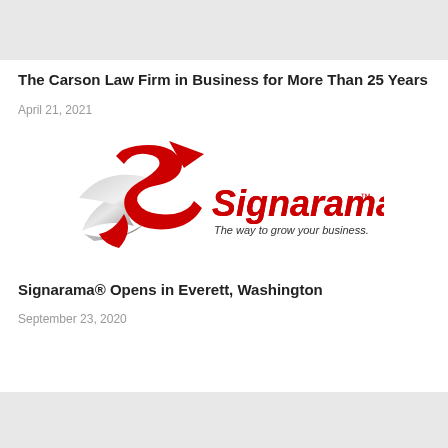[Figure (other): Gray background bar at top of page]
The Carson Law Firm in Business for More Than 25 Years
April 21, 2021
[Figure (logo): Signarama logo — red stylized S with silver swoosh and red text 'Signarama' with tagline 'The way to grow your business.']
Signarama® Opens in Everett, Washington
September 23, 2020
[Figure (other): Gray background bar at bottom of page]